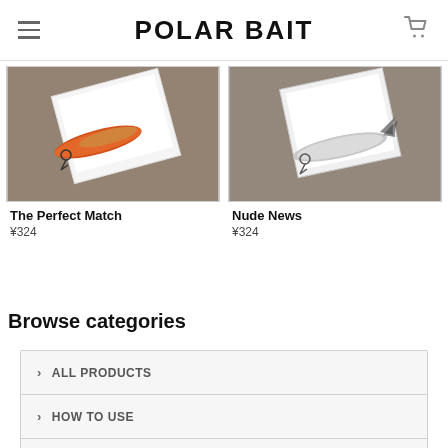POLAR BAIT
[Figure (photo): Fishing lure on wooden surface with packaging box, colorful orange/red lure - The Perfect Match product]
The Perfect Match
¥324
[Figure (photo): Fishing lure on wooden surface with packaging box, silver/white lure - Nude News product]
Nude News
¥324
Browse categories
ALL PRODUCTS
HOW TO USE
ABOUT US